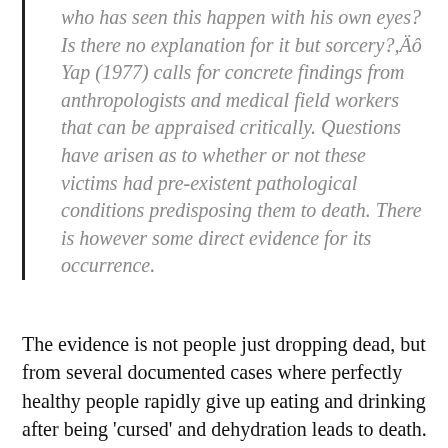who has seen this happen with his own eyes? Is there no explanation for it but sorcery?,Äô Yap (1977) calls for concrete findings from anthropologists and medical field workers that can be appraised critically. Questions have arisen as to whether or not these victims had pre-existent pathological conditions predisposing them to death. There is however some direct evidence for its occurrence.
The evidence is not people just dropping dead, but from several documented cases where perfectly healthy people rapidly give up eating and drinking after being 'cursed' and dehydration leads to death.